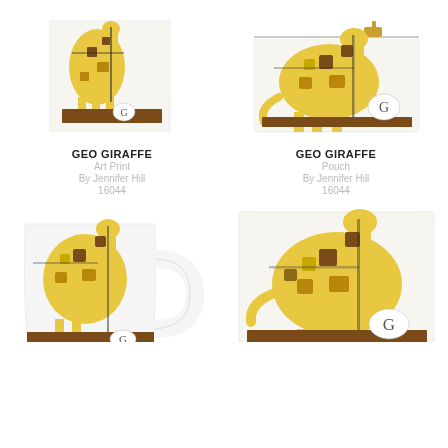[Figure (photo): Geo Giraffe Art Print product photo - giraffe graphic with letter G on brown base]
GEO GIRAFFE
Art Print
By Jennifer Hill
16044
[Figure (photo): Geo Giraffe Pouch product photo - giraffe graphic with letter G on brown base, zippered pouch]
GEO GIRAFFE
Pouch
By Jennifer Hill
16044
[Figure (photo): Geo Giraffe Mug product photo - white ceramic mug with giraffe graphic]
[Figure (photo): Geo Giraffe Pillow product photo - throw pillow with giraffe graphic]